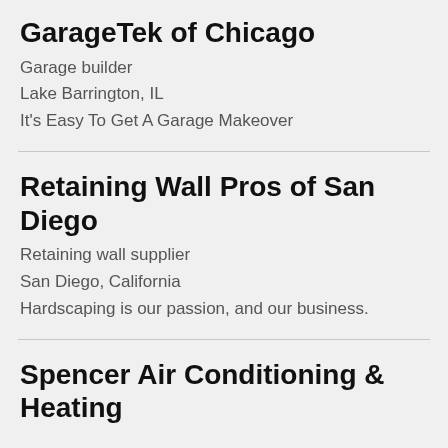GarageTek of Chicago
Garage builder
Lake Barrington, IL
It's Easy To Get A Garage Makeover
Retaining Wall Pros of San Diego
Retaining wall supplier
San Diego, California
Hardscaping is our passion, and our business.
Spencer Air Conditioning & Heating